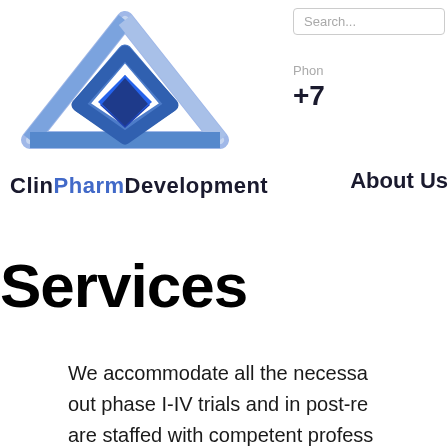[Figure (logo): ClinPharmDevelopment logo: geometric diamond/house shape in blue gradient tones above the company name text]
Search...
Phone
+7
About Us
Services
We accommodate all the necessa… out phase I-IV trials and in post-re… are staffed with competent profess… located throughout the Russian…